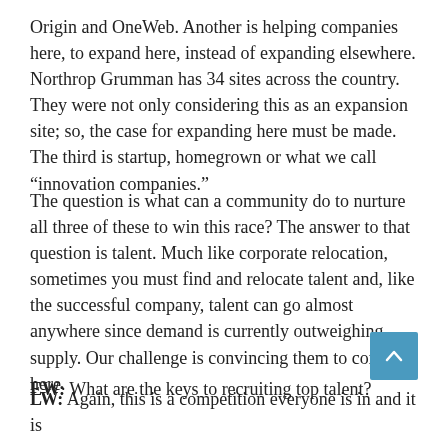Origin and OneWeb. Another is helping companies here, to expand here, instead of expanding elsewhere. Northrop Grumman has 34 sites across the country. They were not only considering this as an expansion site; so, the case for expanding here must be made. The third is startup, homegrown or what we call “innovation companies.”
The question is what can a community do to nurture all three of these to win this race? The answer to that question is talent. Much like corporate relocation, sometimes you must find and relocate talent and, like the successful company, talent can go almost anywhere since demand is currently outweighing supply. Our challenge is convincing them to come here.
EW: What are the keys to recruiting top talent?
LW: Again, this is a competition everyone is in and it is